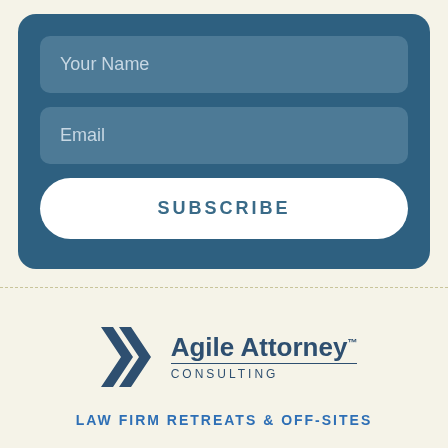[Figure (screenshot): Web form with 'Your Name' and 'Email' input fields and a 'SUBSCRIBE' button on a dark teal rounded card background]
[Figure (logo): Agile Attorney Consulting logo with double chevron arrows and text. Below reads 'LAW FIRM RETREATS & OFF-SITES']